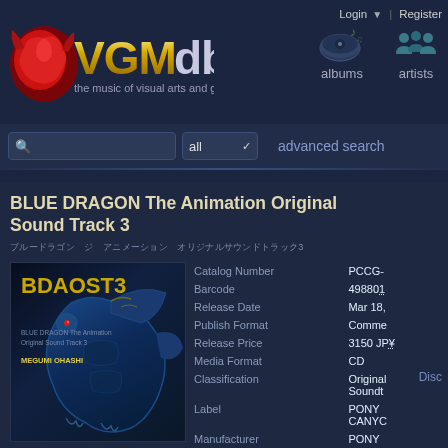VGMdb - the music of visual arts and games
Login | Register
[Figure (logo): VGMdb logo with red brain/dragon icon and gold/white VGMdb text, subtitle: the music of visual arts and games]
[Figure (illustration): Albums nav icon - stylized disc with musical notes]
[Figure (illustration): Artists nav icon - stylized people silhouettes]
albums
artists
all  ▼
advanced search
BLUE DRAGON The Animation Original Sound Track 3
ブルードラゴン ジ アニメーション オリジナルサウンドトラック3
Disc
[Figure (illustration): Album cover art showing BDAOST3 - Blue Dragon The Animation Original Sound Track 3 with blue dragon creature artwork, text MEGUMI OHASHI]
| Field | Value |
| --- | --- |
| Catalog Number | PCCG- |
| Barcode | 49880⁠1 |
| Release Date | Mar 18, |
| Publish Format | Comme |
| Release Price | 3150 JP |
| Media Format | CD |
| Classification | Original Soundt |
| Label | PONY CANYC |
| Manufacturer | PONY |